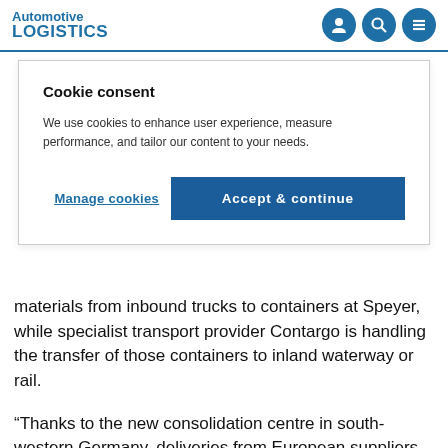Automotive LOGISTICS
Cookie consent
We use cookies to enhance user experience, measure performance, and tailor our content to your needs.
Manage cookies   Accept & continue
materials from inbound trucks to containers at Speyer, while specialist transport provider Contargo is handling the transfer of those containers to inland waterway or rail.
“Thanks to the new consolidation centre in south-western Germany, deliveries from European suppliers south of the Main River will no longer have to be shipped over long distances, which will significantly reduce the logistics costs,”